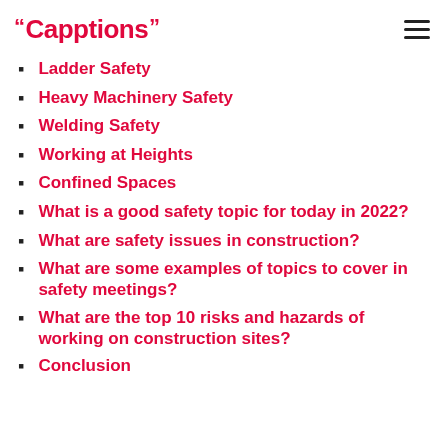Capptions
Ladder Safety
Heavy Machinery Safety
Welding Safety
Working at Heights
Confined Spaces
What is a good safety topic for today in 2022?
What are safety issues in construction?
What are some examples of topics to cover in safety meetings?
What are the top 10 risks and hazards of working on construction sites?
Conclusion